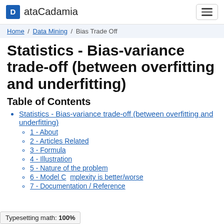ataCadamia
Home / Data Mining / Bias Trade Off
Statistics - Bias-variance trade-off (between overfitting and underfitting)
Table of Contents
Statistics - Bias-variance trade-off (between overfitting and underfitting)
1 - About
2 - Articles Related
3 - Formula
4 - Illustration
5 - Nature of the problem
6 - Model Complexity is better/worse
7 - Documentation / Reference
Typesetting math: 100%